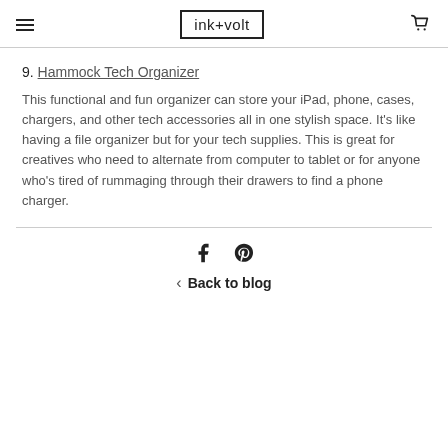ink+volt
9. Hammock Tech Organizer
This functional and fun organizer can store your iPad, phone, cases, chargers, and other tech accessories all in one stylish space. It's like having a file organizer but for your tech supplies. This is great for creatives who need to alternate from computer to tablet or for anyone who's tired of rummaging through their drawers to find a phone charger.
Back to blog